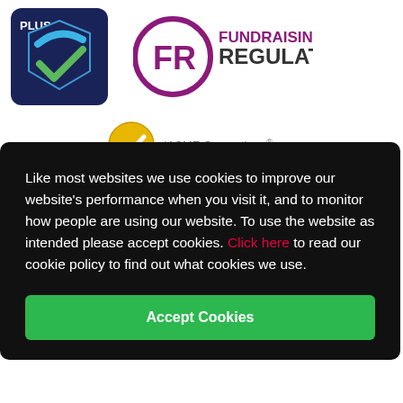[Figure (logo): Cyber Essentials PLUS badge with dark navy background and checkmark]
[Figure (logo): Fundraising Regulator logo with FR in purple circle and text FUNDRAISING REGULATOR]
[Figure (logo): IASME Consortium gold badge with checkmark]
Like most websites we use cookies to improve our website’s performance when you visit it, and to monitor how people are using our website. To use the website as intended please accept cookies. Click here to read our cookie policy to find out what cookies we use.
Accept Cookies